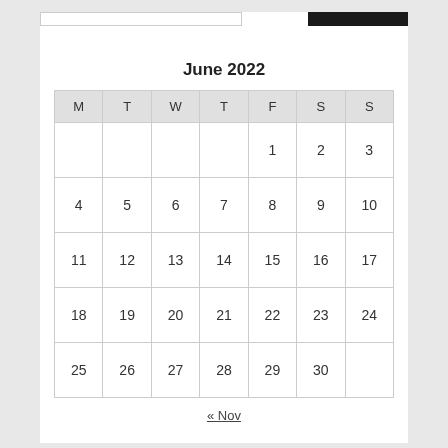June 2022
| M | T | W | T | F | S | S |
| --- | --- | --- | --- | --- | --- | --- |
|  |  |  |  | 1 | 2 | 3 |
| 4 | 5 | 6 | 7 | 8 | 9 | 10 |
| 11 | 12 | 13 | 14 | 15 | 16 | 17 |
| 18 | 19 | 20 | 21 | 22 | 23 | 24 |
| 25 | 26 | 27 | 28 | 29 | 30 |  |
« Nov